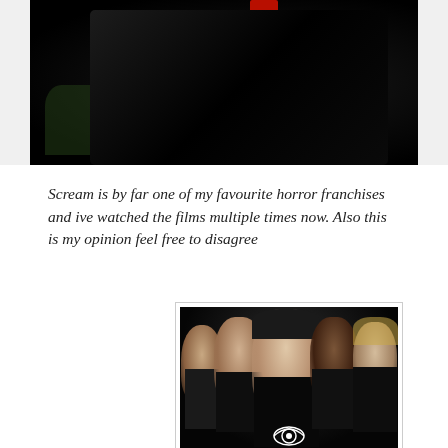[Figure (photo): Partially visible photo of a person in a dark black cloak/costume, with some background elements visible]
Scream is by far one of my favourite horror franchises and ive watched the films multiple times now. Also this is my opinion feel free to disagree
[Figure (photo): Promotional photo of the Scream 3 cast — five actors posed together against a dark background with the Scream 3 eye logo visible]